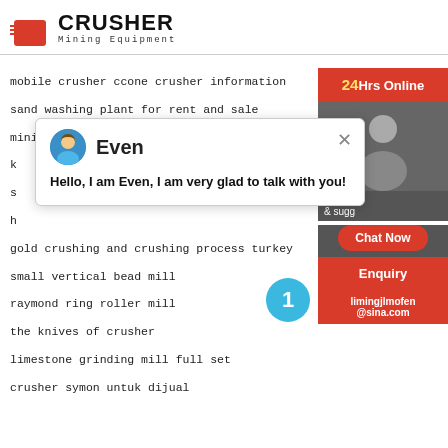[Figure (logo): Crusher Mining Equipment logo with red shopping bag icon and bold text]
mobile crusher ccone crusher information
sand washing plant for rent and sale
mining equipment schedule
k
s
h
gold crushing and crushing process turkey
small vertical bead mill
raymond ring roller mill
the knives of crusher
limestone grinding mill full set
crusher symon untuk dijual
[Figure (screenshot): Chat popup with avatar of Even saying Hello, I am Even, I am very glad to talk with you!]
[Figure (infographic): Right sidebar with 24Hrs Online red banner, support image, Need & suggestions text, Chat Now red button, Enquiry section, and limingjlmofen@sina.com email]